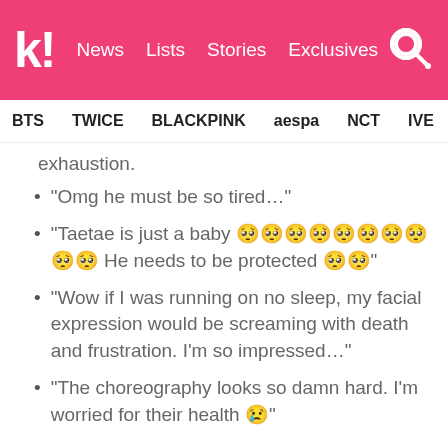Koreaboo | News | Lists | Stories | Exclusives
BTS  TWICE  BLACKPINK  aespa  NCT  IVE  SHINee
exhaustion.
“Omg he must be so tired…”
“Taetae is just a baby 🥺🥺🥺🥺🥺🥺🥺🥺🥺🥺 He needs to be protected 🥺🥺”
“Wow if I was running on no sleep, my facial expression would be screaming with death and frustration. I’m so impressed…”
“The choreography looks so damn hard. I’m worried for their health 😢”
Fans noticed that BTS members have been running on no sleep for 24 hours as they...